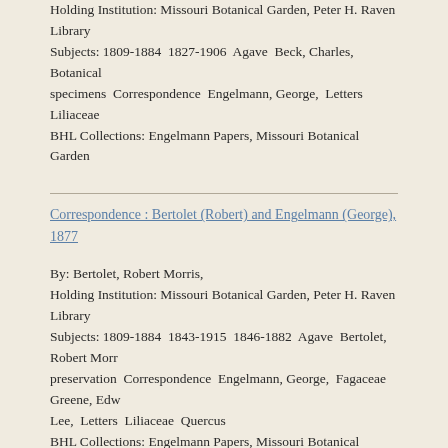Holding Institution: Missouri Botanical Garden, Peter H. Raven Library Subjects: 1809-1884 1827-1906 Agave Beck, Charles, Botanical specimens Correspondence Engelmann, George, Letters Liliaceae BHL Collections: Engelmann Papers, Missouri Botanical Garden
Correspondence : Bertolet (Robert) and Engelmann (George), 1877
By: Bertolet, Robert Morris, Holding Institution: Missouri Botanical Garden, Peter H. Raven Library Subjects: 1809-1884 1843-1915 1846-1882 Agave Bertolet, Robert Morris preservation Correspondence Engelmann, George, Fagaceae Greene, Edward Lee, Letters Liliaceae Quercus BHL Collections: Engelmann Papers, Missouri Botanical Garden
Correspondence : Bornet (Édouard) and Engelmann (George), 1875-1876
By: Bornet, Ed. (Edouard), Holding Institution: Missouri Botanical Garden, Peter H. Raven Library Subjects: 1807-1882 1809-1884 1810-1888 1817-1875 1828-1911 Agave Édouard, Botanical specimens Cactaceae Collection and preservation Correspondence Cupressaceae Cupressus Decaisne, Joseph